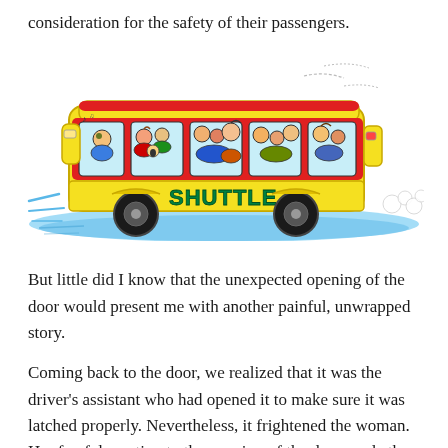consideration for the safety of their passengers.
[Figure (illustration): Comic cartoon illustration of an overcrowded yellow and red shuttle bus speeding along, packed with cartoon passengers visible through the windows, with the word SHUTTLE written on the side, blue speed lines and exhaust clouds behind it.]
But little did I know that the unexpected opening of the door would present me with another painful, unwrapped story.
Coming back to the door, we realized that it was the driver's assistant who had opened it to make sure it was latched properly. Nevertheless, it frightened the woman. Her fearful reaction to the opening of the door made the